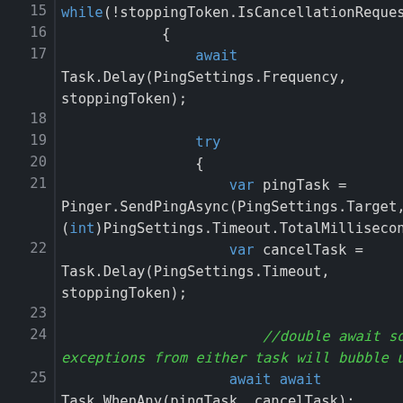[Figure (screenshot): C# code snippet showing lines 15-29 of a background service ping loop, featuring while loop, await Task.Delay, try block, var pingTask and cancelTask assignments, double await comment, await await Task.WhenAny, and if(pingTask.IsCompletedSuccessfully) check, displayed in a dark-themed code editor.]